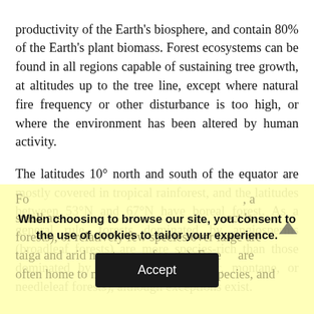productivity of the Earth's biosphere, and contain 80% of the Earth's plant biomass. Forest ecosystems can be found in all regions capable of sustaining tree growth, at altitudes up to the tree line, except where natural fire frequency or other disturbance is too high, or where the environment has been altered by human activity.
The latitudes 10° north and south of the equator are mostly covered in tropical rainforest, and the latitudes between 53°N and 67°N have boreal forest. As a general rule, forests dominated by angiosperms (broadleaf forests) are more species-rich than those dominated by gymnosperms (conifer, montane, or needleleaf forests), although exceptions exist.
Forests cover much of the planet's land area, with a small area... (cookie overlay obscures remainder)